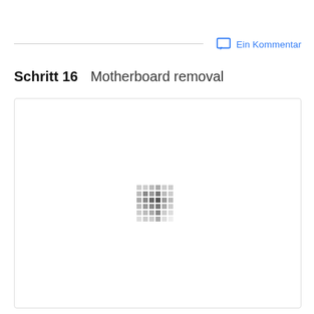Schritt 16    Motherboard removal
Ein Kommentar
[Figure (photo): Image loading placeholder with dot pattern, inside a bordered box. The image content for Motherboard removal step 16 is loading.]